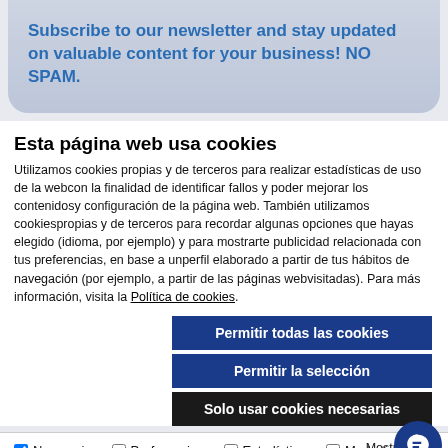Subscribe to our newsletter and stay updated on valuable content for your business! NO SPAM.
Esta página web usa cookies
Utilizamos cookies propias y de terceros para realizar estadísticas de uso de la webcon la finalidad de identificar fallos y poder mejorar los contenidosy configuración de la página web. También utilizamos cookiespropias y de terceros para recordar algunas opciones que hayas elegido (idioma, por ejemplo) y para mostrarte publicidad relacionada con tus preferencias, en base a unperfil elaborado a partir de tus hábitos de navegación (por ejemplo, a partir de las páginas webvisitadas). Para más información, visita la Política de cookies.
Permitir todas las cookies
Permitir la selección
Solo usar cookies necesarias
Necesario   Preferencias   Estadística   Marketing   Mostrar detalles